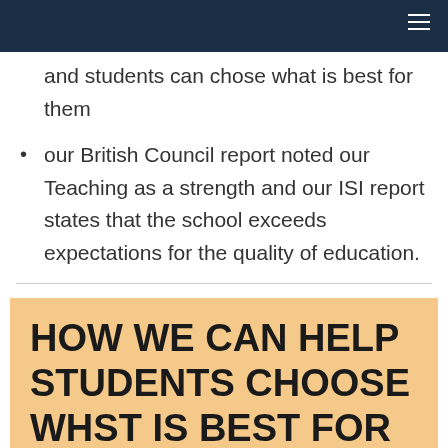and students can chose what is best for them
our British Council report noted our Teaching as a strength and our ISI report states that the school exceeds expectations for the quality of education.
HOW WE CAN HELP STUDENTS CHOOSE WHST IS BEST FOR THEM